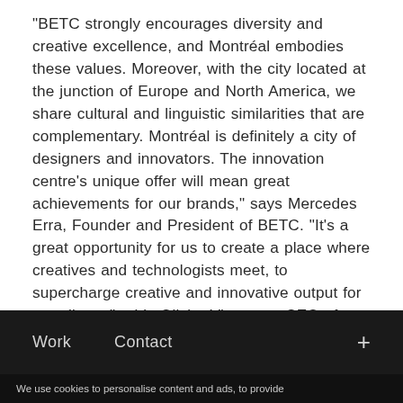“BETC strongly encourages diversity and creative excellence, and Montréal embodies these values. Moreover, with the city located at the junction of Europe and North America, we share cultural and linguistic similarities that are complementary. Montréal is definitely a city of designers and innovators. The innovation centre’s unique offer will mean great achievements for our brands,” says Mercedes Erra, Founder and President of BETC. “It’s a great opportunity for us to create a place where creatives and technologists meet, to supercharge creative and innovative output for our clients,” adds Olivier Vigneaux, CEO of BETC Digital.
Work   Contact   +
We use cookies to personalise content and ads, to provide